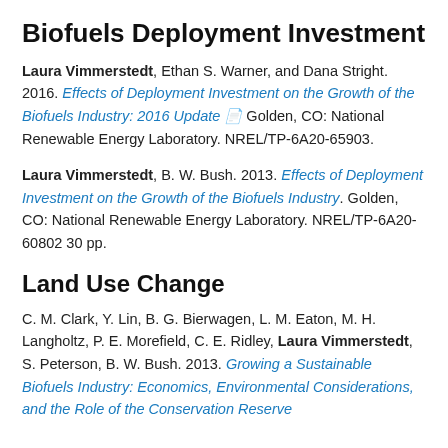Biofuels Deployment Investment
Laura Vimmerstedt, Ethan S. Warner, and Dana Stright. 2016. Effects of Deployment Investment on the Growth of the Biofuels Industry: 2016 Update [link] Golden, CO: National Renewable Energy Laboratory. NREL/TP-6A20-65903.
Laura Vimmerstedt, B. W. Bush. 2013. Effects of Deployment Investment on the Growth of the Biofuels Industry. Golden, CO: National Renewable Energy Laboratory. NREL/TP-6A20-60802 30 pp.
Land Use Change
C. M. Clark, Y. Lin, B. G. Bierwagen, L. M. Eaton, M. H. Langholtz, P. E. Morefield, C. E. Ridley, Laura Vimmerstedt, S. Peterson, B. W. Bush. 2013. Growing a Sustainable Biofuels Industry: Economics, Environmental Considerations, and the Role of the Conservation Reserve...